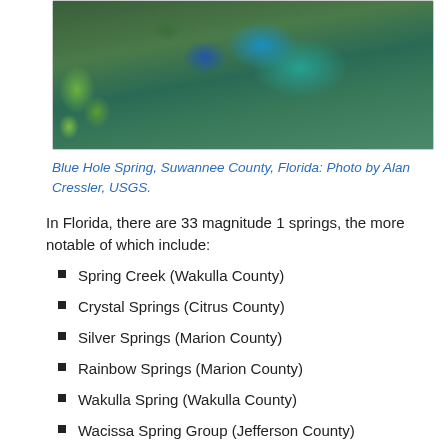[Figure (photo): Aerial or overhead view of Blue Hole Spring, Suwannee County, Florida, showing vivid blue-green spring water surrounded by dense green vegetation and trees.]
Blue Hole Spring, Suwannee County, Florida: Photo by Alan Cressler, USGS.
In Florida, there are 33 magnitude 1 springs, the more notable of which include:
Spring Creek (Wakulla County)
Crystal Springs (Citrus County)
Silver Springs (Marion County)
Rainbow Springs (Marion County)
Wakulla Spring (Wakulla County)
Wacissa Spring Group (Jefferson County)